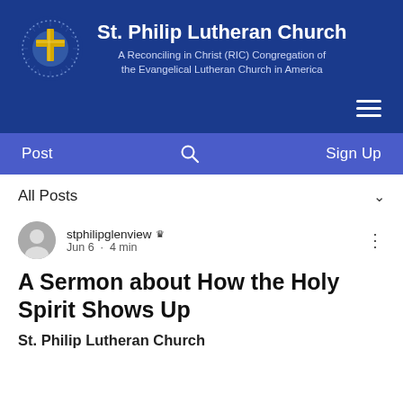[Figure (logo): St. Philip Lutheran Church logo with gold cross in circular emblem on dark blue background, with church name and subtitle]
Post   Sign Up
All Posts
stphilipglenview  Jun 6 · 4 min
A Sermon about How the Holy Spirit Shows Up
St. Philip Lutheran Church